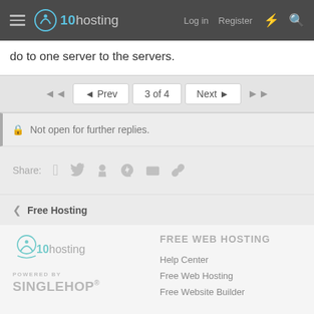x10hosting — Log in | Register
do to one server to the servers.
◄  ◄ Prev  3 of 4  Next ►  ►
🔒 Not open for further replies.
Share: (social icons)
< Free Hosting
[Figure (logo): x10hosting logo in footer]
FREE WEB HOSTING
POWERED BY
SINGLEHOP
Help Center
Free Web Hosting
Free Website Builder